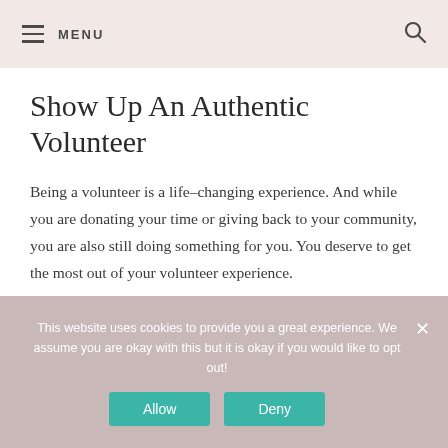MENU
Show Up An Authentic Volunteer
Being a volunteer is a life-changing experience. And while you are donating your time or giving back to your community, you are also still doing something for you. You deserve to get the most out of your volunteer experience.
This website uses cookies to provide you a great experience. We assume you are okay with this but it is okay if you would like to opt out!